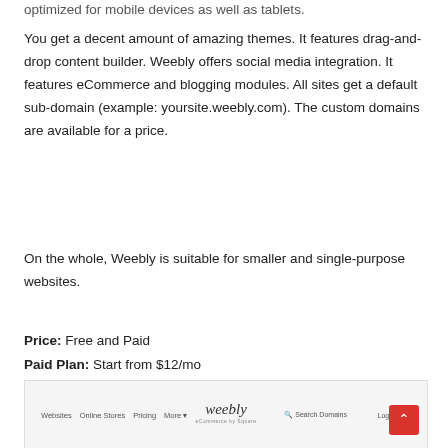optimized for mobile devices as well as tablets.
You get a decent amount of amazing themes. It features drag-and-drop content builder. Weebly offers social media integration. It features eCommerce and blogging modules. All sites get a default sub-domain (example: yoursite.weebly.com). The custom domains are available for a price.
On the whole, Weebly is suitable for smaller and single-purpose websites.
Price: Free and Paid
Paid Plan: Start from $12/mo
[Figure (screenshot): Weebly website screenshot showing navigation bar with Websites, Online Stores, Pricing, More links, Weebly logo in center, Search Domains, Log In, and Sign Up button]